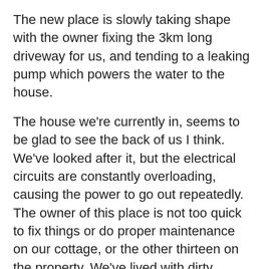The new place is slowly taking shape with the owner fixing the 3km long driveway for us, and tending to a leaking pump which powers the water to the house.
The house we're currently in, seems to be glad to see the back of us I think. We've looked after it, but the electrical circuits are constantly overloading, causing the power to go out repeatedly. The owner of this place is not too quick to fix things or do proper maintenance on our cottage, or the other thirteen on the property. We've lived with dirty, stinking water for nearly a year here and he won't fix that. We've also tolerated a feral cat problem, as well as a flea infestation which happens in the warmer months. He refuses to deal with those issues too. Not to mention two driveways which are very rough, full of potholes and both about 2km long, and he refuses to fix those either.
I get so angry at landlords who simply want the